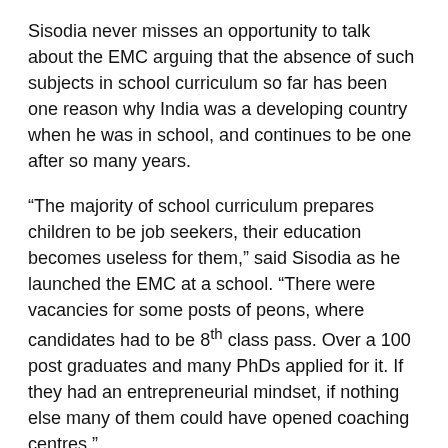Sisodia never misses an opportunity to talk about the EMC arguing that the absence of such subjects in school curriculum so far has been one reason why India was a developing country when he was in school, and continues to be one after so many years.
“The majority of school curriculum prepares children to be job seekers, their education becomes useless for them,” said Sisodia as he launched the EMC at a school. “There were vacancies for some posts of peons, where candidates had to be 8th class pass. Over a 100 post graduates and many PhDs applied for it. If they had an entrepreneurial mindset, if nothing else many of them could have opened coaching centres.”
Read more: Future of jobs: One Person Corporation ahoy!